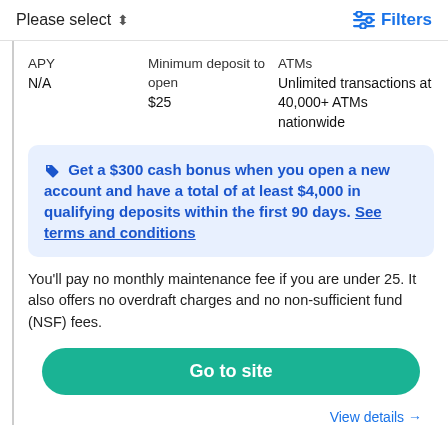Please select   Filters
APY
N/A
Minimum deposit to open
$25
ATMs
Unlimited transactions at 40,000+ ATMs nationwide
Get a $300 cash bonus when you open a new account and have a total of at least $4,000 in qualifying deposits within the first 90 days. See terms and conditions
You'll pay no monthly maintenance fee if you are under 25. It also offers no overdraft charges and no non-sufficient fund (NSF) fees.
Go to site
View details →